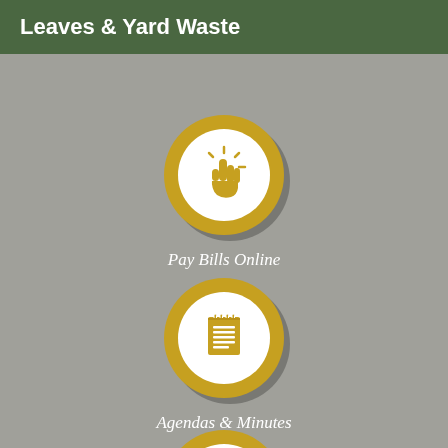Leaves & Yard Waste
[Figure (infographic): Golden circle icon with a click/pointer hand cursor symbol, representing Pay Bills Online]
Pay Bills Online
[Figure (infographic): Golden circle icon with a notepad/document symbol, representing Agendas & Minutes]
Agendas & Minutes
[Figure (infographic): Golden circle icon with a trash/garbage can symbol, partially visible at bottom]